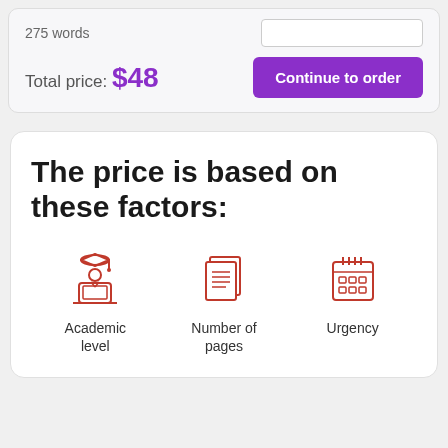275 words
Total price: $48
Continue to order
The price is based on these factors:
[Figure (illustration): Red line icon of a student wearing graduation cap sitting at a laptop]
Academic level
[Figure (illustration): Red line icon of stacked document pages]
Number of pages
[Figure (illustration): Red line icon of a calendar]
Urgency